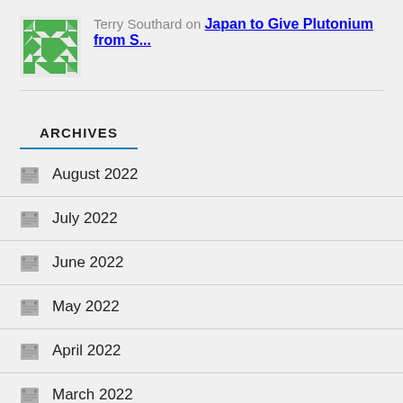Terry Southard on Japan to Give Plutonium from S...
ARCHIVES
August 2022
July 2022
June 2022
May 2022
April 2022
March 2022